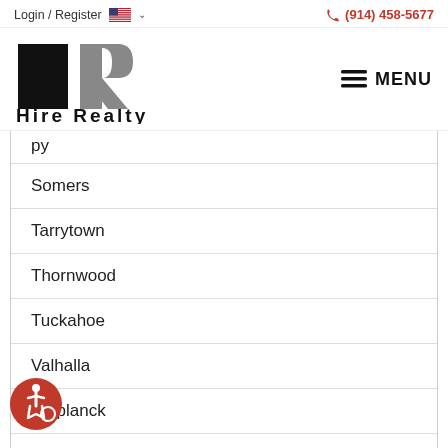Login / Register  🇺🇸 ∨    ☎ (914) 458-5677
[Figure (logo): Hire Realty logo with stylized HR letters in black and gray, with text 'Hire Realty' below]
≡ MENU
(partially cut off top item)
Somers
Tarrytown
Thornwood
Tuckahoe
Valhalla
Verplanck
Verplanck
[Figure (illustration): Red circular accessibility icon button (wheelchair symbol)]